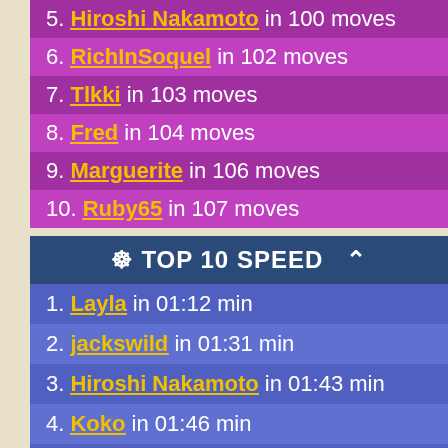5. Hiroshi Nakamoto in 100 moves
6. RichInSoquel in 102 moves
7. Tlkki in 103 moves
8. Fred in 104 moves
9. Marguerite in 106 moves
10. Ruby65 in 107 moves
🐾 TOP 10 SPEED 🔼
1. Layla in 01:12 min
2. jackswild in 01:31 min
3. Hiroshi Nakamoto in 01:43 min
4. Koko in 01:46 min
5. CtownChris in 01:47 min
6. blueberries in 01:54 min
7. eddie! in 01:57 min
8. myrtle in 01:59 min